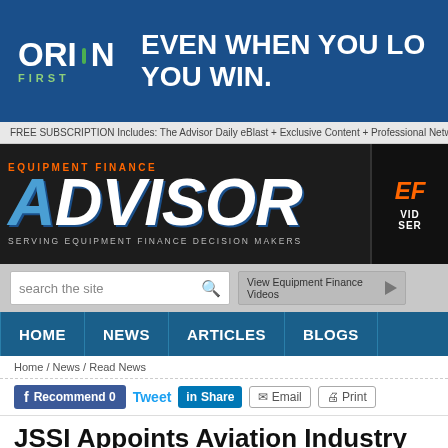[Figure (other): Orion First advertisement banner — dark blue background with Orion First logo on left and text 'EVEN WHEN YOU LO… YOU WIN.' in white bold uppercase on right]
FREE SUBSCRIPTION Includes: The Advisor Daily eBlast + Exclusive Content + Professional Network Me…
[Figure (logo): Equipment Finance Advisor website header logo — dark background with 'EQUIPMENT FINANCE' in orange and 'ADVISOR' in large blue/white italic bold text. Tagline: SERVING EQUIPMENT FINANCE DECISION MAKERS. Right side has partial EF video series box.]
search the site   View Equipment Finance Videos
HOME   NEWS   ARTICLES   BLOGS
Home / News / Read News
Recommend 0   Tweet   Share   Email   Print
JSSI Appoints Aviation Industry Ve… Rol…